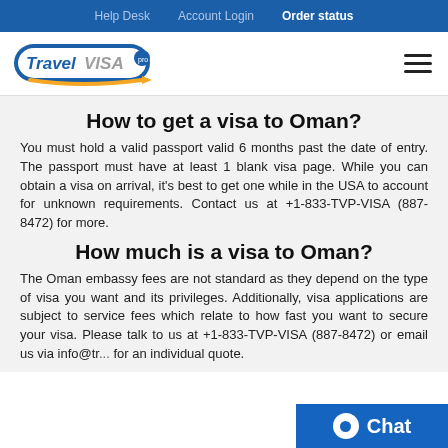Help Desk   Account Login   Order status
[Figure (logo): Travel Visa Pro logo with orange arrow]
How to get a visa to Oman?
You must hold a valid passport valid 6 months past the date of entry. The passport must have at least 1 blank visa page. While you can obtain a visa on arrival, it’s best to get one while in the USA to account for unknown requirements. Contact us at +1-833-TVP-VISA (887-8472) for more.
How much is a visa to Oman?
The Oman embassy fees are not standard as they depend on the type of visa you want and its privileges. Additionally, visa applications are subject to service fees which relate to how fast you want to secure your visa. Please talk to us at +1-833-TVP-VISA (887-8472) or email us via info@tr... for an individual quote.